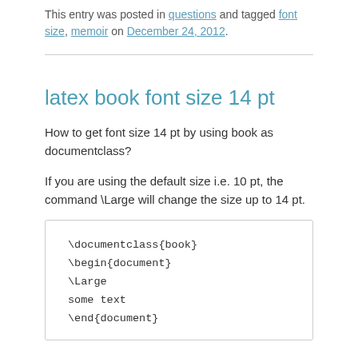This entry was posted in questions and tagged font size, memoir on December 24, 2012.
latex book font size 14 pt
How to get font size 14 pt by using book as documentclass?
If you are using the default size i.e. 10 pt, the command \Large will change the size up to 14 pt.
[Figure (screenshot): Code block showing LaTeX example: \documentclass{book} \begin{document} \Large some text \end{document}]